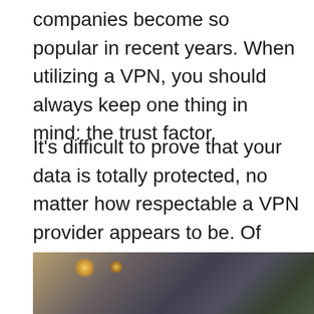companies become so popular in recent years. When utilizing a VPN, you should always keep one thing in mind: the trust factor.
It’s difficult to prove that your data is totally protected, no matter how respectable a VPN provider appears to be. Of course, many prominent VPN providers claim that data security is their first priority, which is frequently the case. However, you should take a provider’s claim of a “no-log” policy with a grain of salt. VPN providers can store logs, which are databases of internet activity and connection information.
[Figure (photo): A partial photo showing an indoor scene with blurred background, warm light sources visible, and what appears to be furniture or equipment silhouettes.]